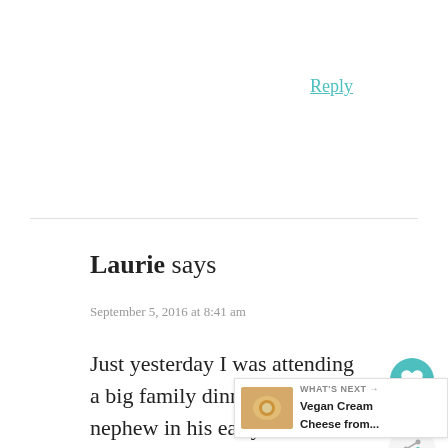Reply
Laurie says
September 5, 2016 at 8:41 am
Just yesterday I was attending a big family dinner and my nephew in his early 20’s was complaining of stomach pain after eating and other general complaints of feeling poorly. I suggested he try to go